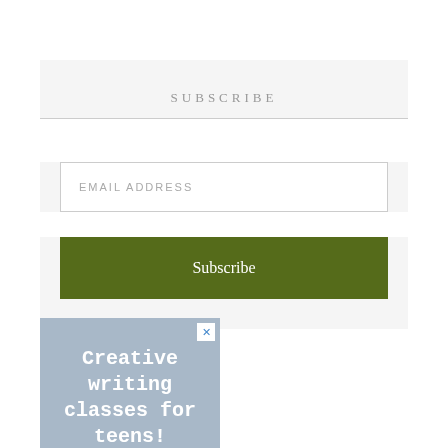SUBSCRIBE
EMAIL ADDRESS
Subscribe
[Figure (illustration): Advertisement banner with blue-grey background showing text 'Creative writing classes for teens!' with a close button (X) in the top right corner.]